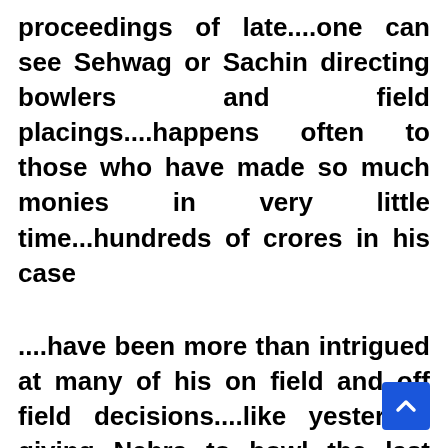proceedings of late....one can see Sehwag or Sachin directing bowlers and field placings....happens often to those who have made so much monies in very little time...hundreds of crores in his case
....have been more than intrigued at many of his on field and off field decisions....like yesterday giving Nehra to bowl the last over instead of Harbhajan Singh who was bowling beautifully and had picked three wickets already... Dhoni missed a huge